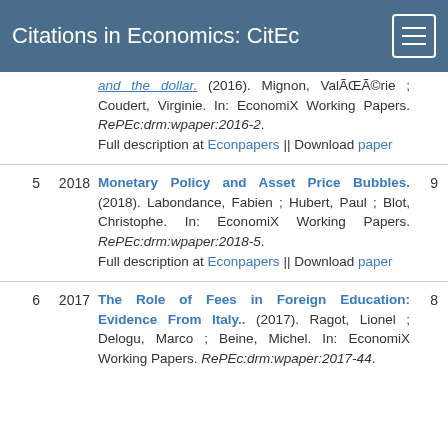Citations in Economics: CitEc
and the dollar. (2016). Mignon, ValÃ©rie ; Coudert, Virginie. In: EconomiX Working Papers. RePEc:drm:wpaper:2016-2. Full description at Econpapers || Download paper
5 2018 Monetary Policy and Asset Price Bubbles. (2018). Labondance, Fabien ; Hubert, Paul ; Blot, Christophe. In: EconomiX Working Papers. RePEc:drm:wpaper:2018-5. Full description at Econpapers || Download paper 9
6 2017 The Role of Fees in Foreign Education: Evidence From Italy.. (2017). Ragot, Lionel ; Delogu, Marco ; Beine, Michel. In: EconomiX Working Papers. RePEc:drm:wpaper:2017-44. 8